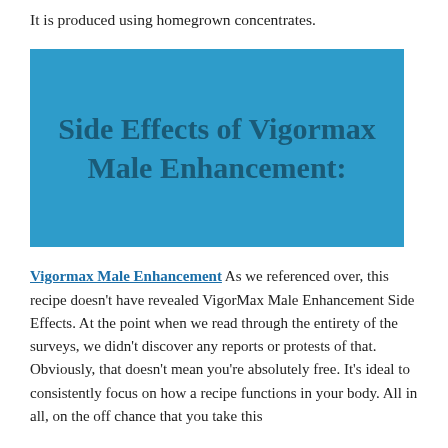It is produced using homegrown concentrates.
[Figure (infographic): Blue rectangle banner with bold dark blue text reading 'Side Effects of Vigormax Male Enhancement:']
Vigormax Male Enhancement As we referenced over, this recipe doesn't have revealed VigorMax Male Enhancement Side Effects. At the point when we read through the entirety of the surveys, we didn't discover any reports or protests of that. Obviously, that doesn't mean you're absolutely free. It's ideal to consistently focus on how a recipe functions in your body. All in all, on the off chance that you take this